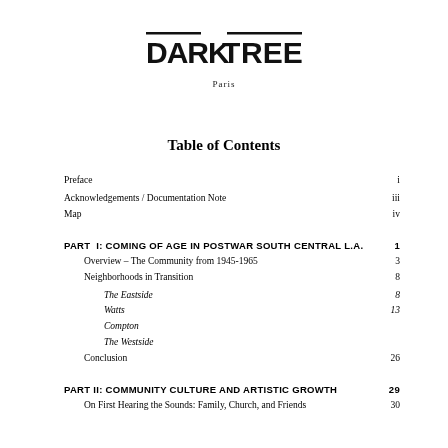[Figure (logo): DARKTREE logo with decorative overline bars, publisher logo]
Paris
Table of Contents
| Entry | Page |
| --- | --- |
| Preface | i |
| Acknowledgements / Documentation Note | iii |
| Map | iv |
| PART I: COMING OF AGE IN POSTWAR SOUTH CENTRAL L.A. | 1 |
| Overview – The Community from 1945-1965 | 3 |
| Neighborhoods in Transition | 8 |
| The Eastside | 8 |
| Watts | 13 |
| Compton |  |
| The Westside |  |
| Conclusion | 26 |
| PART II: COMMUNITY CULTURE AND ARTISTIC GROWTH | 29 |
| On First Hearing the Sounds: Family, Church, and Friends | 30 |